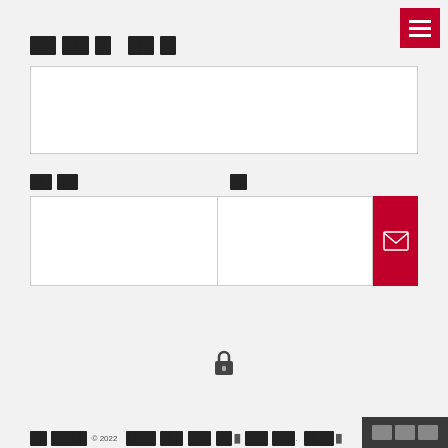[Figure (screenshot): Hamburger menu button (red background, three white horizontal lines) in top right corner]
█████ ██
[Figure (screenshot): Large white input text area with border]
██ ██   █
[Figure (screenshot): Two-column input area with red email send button on right]
[Figure (screenshot): Lock icon in center of page]
██ █████ © 2022   ████ ███ ███ ██ █ ███ ███.   ████ █   ███